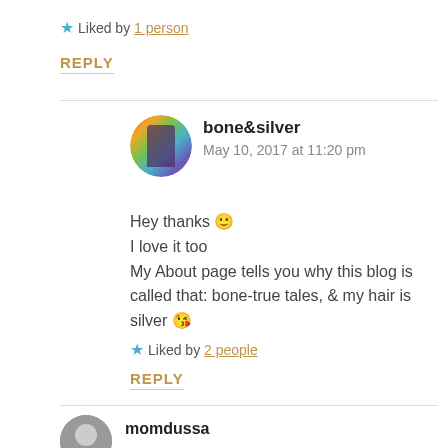★ Liked by 1 person
REPLY
bone&silver
May 10, 2017 at 11:20 pm
Hey thanks 🙂
I love it too
My About page tells you why this blog is called that: bone-true tales, & my hair is silver 😘
★ Liked by 2 people
REPLY
momdussa